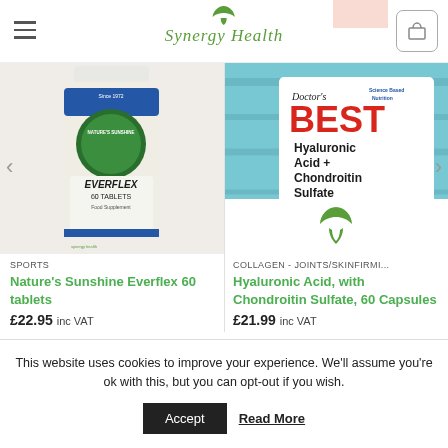Synergy Health
[Figure (photo): Nature's Sunshine Everflex 60 tablets supplement bottle]
[Figure (photo): Doctor's Best Hyaluronic Acid with Chondroitin Sulfate 60 Veggie Caps product with teal wooden background and Synergy Health logo]
SPORTS
Nature's Sunshine Everflex 60 tablets
£22.95 inc VAT
COLLAGEN - JOINTS/SKINFIRMI...
Hyaluronic Acid, with Chondroitin Sulfate, 60 Capsules
£21.99 inc VAT
This website uses cookies to improve your experience. We'll assume you're ok with this, but you can opt-out if you wish.
Accept
Read More